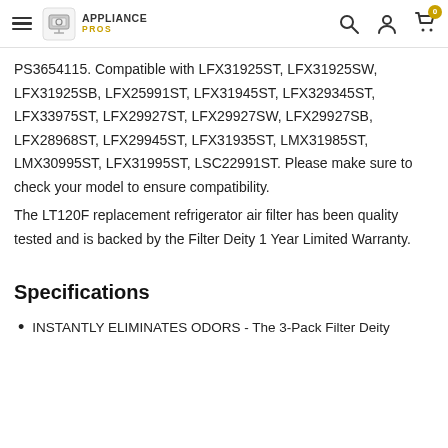Appliance Pros — navigation header with search, account, and cart icons
PS3654115. Compatible with LFX31925ST, LFX31925SW, LFX31925SB, LFX25991ST, LFX31945ST, LFX329345ST, LFX33975ST, LFX29927ST, LFX29927SW, LFX29927SB, LFX28968ST, LFX29945ST, LFX31935ST, LMX31985ST, LMX30995ST, LFX31995ST, LSC22991ST. Please make sure to check your model to ensure compatibility.
The LT120F replacement refrigerator air filter has been quality tested and is backed by the Filter Deity 1 Year Limited Warranty.
Specifications
INSTANTLY ELIMINATES ODORS - The 3-Pack Filter Deity